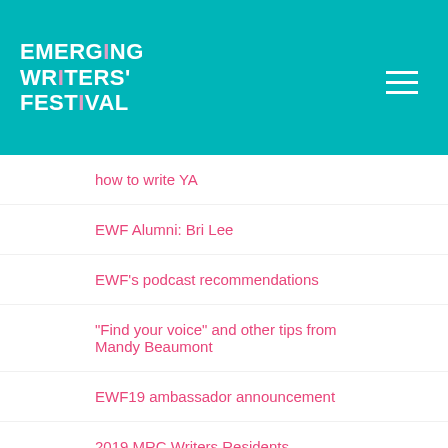[Figure (logo): Emerging Writers' Festival logo — white bold text on teal background with pink/purple accent on the letter I]
how to write YA
EWF Alumni: Bri Lee
EWF's podcast recommendations
“Find your voice” and other tips from Mandy Beaumont
EWF19 ambassador announcement
2019 MRC Writers Residents